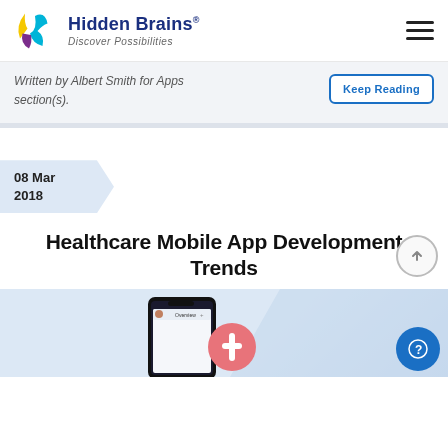Hidden Brains® Discover Possibilities
Written by Albert Smith for Apps section(s).
Keep Reading
08 Mar 2018
Healthcare Mobile App Development Trends
[Figure (screenshot): Screenshot of a healthcare mobile app interface on a smartphone mockup with a pink medical icon]